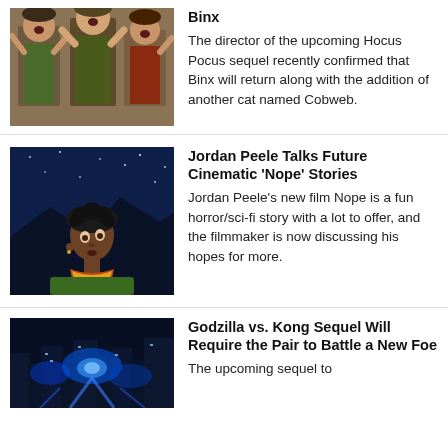[Figure (photo): Three women in witch costumes from Hocus Pocus, standing with mouths open]
Binx
The director of the upcoming Hocus Pocus sequel recently confirmed that Binx will return along with the addition of another cat named Cobweb.
[Figure (photo): A young woman looking up at a dark blue night sky with mountains in background, from the film Nope]
Jordan Peele Talks Future Cinematic 'Nope' Stories
Jordan Peele's new film Nope is a fun horror/sci-fi story with a lot to offer, and the filmmaker is now discussing his hopes for more.
[Figure (photo): Dark cityscape with blue glowing lights, from Godzilla vs. Kong sequel]
Godzilla vs. Kong Sequel Will Require the Pair to Battle a New Foe
The upcoming sequel to